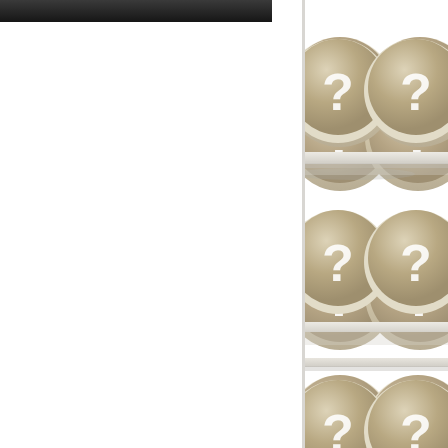[Figure (illustration): Dark/black banner or header bar in top-left area of the page]
[Figure (illustration): Grid of coin/button icons with question marks, shown in two columns, four rows, on the right side of the page. Each coin is a circular tan/beige token with a white question mark, sitting on a light shelf with a shadow beneath.]